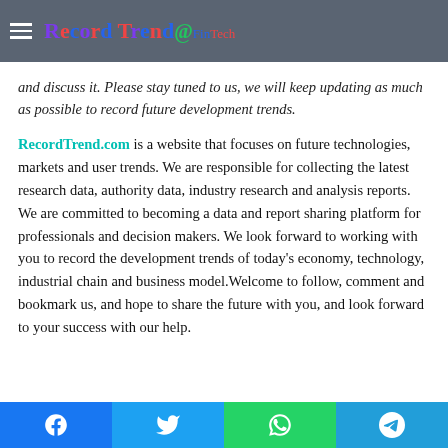Record Trend FinTech
and discuss it. Please stay tuned to us, we will keep updating as much as possible to record future development trends.
RecordTrend.com is a website that focuses on future technologies, markets and user trends. We are responsible for collecting the latest research data, authority data, industry research and analysis reports. We are committed to becoming a data and report sharing platform for professionals and decision makers. We look forward to working with you to record the development trends of today's economy, technology, industrial chain and business model.Welcome to follow, comment and bookmark us, and hope to share the future with you, and look forward to your success with our help.
Social share buttons: Facebook, Twitter, WhatsApp, Telegram